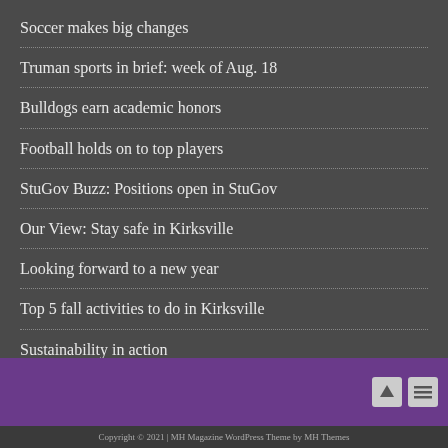Soccer makes big changes
Truman sports in brief: week of Aug. 18
Bulldogs earn academic honors
Football holds on to top players
StuGov Buzz: Positions open in StuGov
Our View: Stay safe in Kirksville
Looking forward to a new year
Top 5 fall activities to do in Kirksville
Sustainability in action
Junior helps provide food for Kansas City
Copyright © 2021 | MH Magazine WordPress Theme by MH Themes